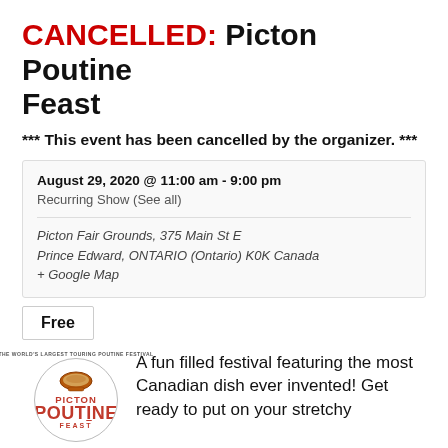CANCELLED: Picton Poutine Feast
*** This event has been cancelled by the organizer. ***
August 29, 2020 @ 11:00 am - 9:00 pm
Recurring Show (See all)
Picton Fair Grounds, 375 Main St E
Prince Edward, ONTARIO (Ontario) K0K Canada
+ Google Map
Free
[Figure (logo): Picton Poutine Feast circular logo with bowl of poutine illustration and red text]
A fun filled festival featuring the most Canadian dish ever invented! Get ready to put on your stretchy